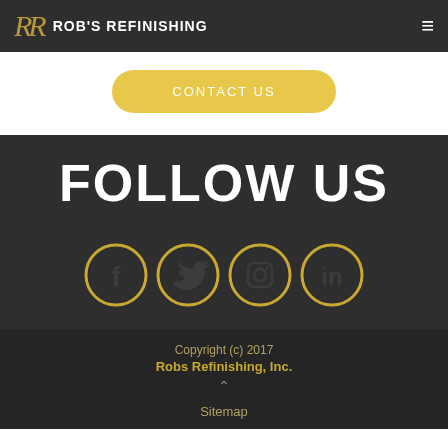ROB'S REFINISHING
CONTACT US
FOLLOW US
[Figure (illustration): Four social media icons in gold outlined circles: Facebook, Twitter, Instagram, LinkedIn]
Copyright (c) 2017 Robs Refinishing, Inc. Sitemap